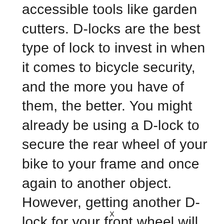accessible tools like garden cutters. D-locks are the best type of lock to invest in when it comes to bicycle security, and the more you have of them, the better. You might already be using a D-lock to secure the rear wheel of your bike to your frame and once again to another object. However, getting another D-lock for your front wheel will seriously improve the security of your bike. There are other locks that can also help you to secure your bike, such as handlebar locks and locks that can immobilize your wheels. The key is to
x